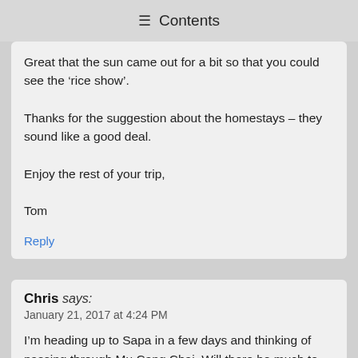≡ Contents
Great that the sun came out for a bit so that you could see the ‘rice show’.

Thanks for the suggestion about the homestays – they sound like a good deal.

Enjoy the rest of your trip,

Tom
Reply
Chris says:
January 21, 2017 at 4:24 PM
I’m heading up to Sapa in a few days and thinking of passing through Mu Cang Chai. Will there be much to see at this time of year, or have I missed it? Thanks!